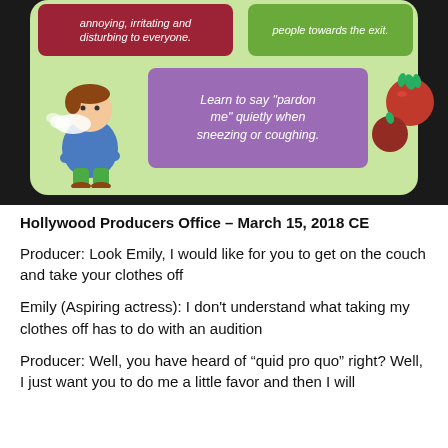[Figure (infographic): Infographic on a green background with a red box showing 'annoying, irritating and disturbing to everyone.', a green box showing 'people towards the exit.', a purple box showing 'Learn to say "pardon me" quietly when sneezing or coughing.', a cartoon figure sneezing on the left, and tomatoes on the right.]
Hollywood Producers Office – March 15, 2018 CE
Producer:  Look Emily, I would like for you to get on the couch and take your clothes off
Emily (Aspiring actress): I don't understand what taking my clothes off has to do with an audition
Producer:  Well, you have heard of “quid pro quo” right? Well, I just want you to do me a little favor and then I will